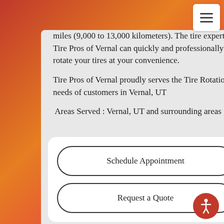miles (9,000 to 13,000 kilometers). The tire experts at Tire Pros of Vernal can quickly and professionally rotate your tires at your convenience.
Tire Pros of Vernal proudly serves the Tire Rotation needs of customers in Vernal, UT
Areas Served : Vernal, UT and surrounding areas
Schedule Appointment
Request a Quote